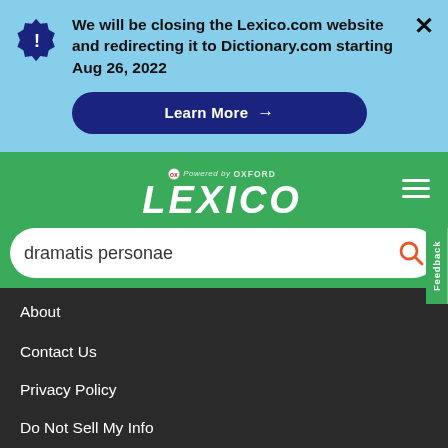We will be closing the Lexico.com website and redirecting it to Dictionary.com starting Aug 26, 2022
Learn More →
[Figure (logo): Lexico powered by Oxford logo on green background with hamburger menu]
dramatis personae
About
Contact Us
Privacy Policy
Do Not Sell My Info
READ MORE
on Newz Online